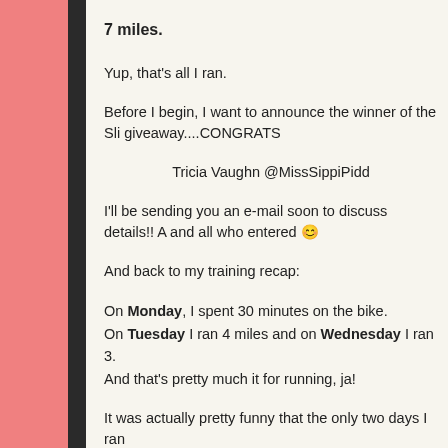7 miles.
Yup, that's all I ran.
Before I begin, I want to announce the winner of the Sli giveaway....CONGRATS
Tricia Vaughn @MissSippiPidd
I'll be sending you an e-mail soon to discuss details!! A and all who entered 😊
And back to my training recap:
On Monday, I spent 30 minutes on the bike. On Tuesday I ran 4 miles and on Wednesday I ran 3. And that's pretty much it for running, ja!
It was actually pretty funny that the only two days I ran